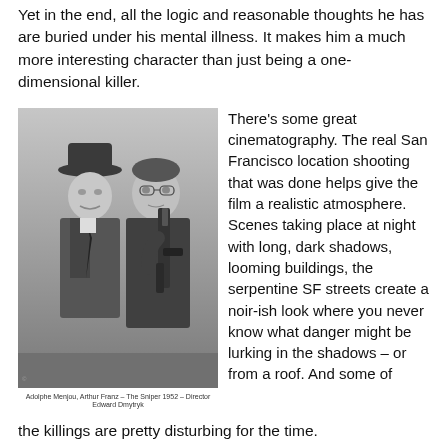Yet in the end, all the logic and reasonable thoughts he has are buried under his mental illness. It makes him a much more interesting character than just being a one-dimensional killer.
[Figure (photo): Black and white still of two men, one older in a suit and hat, one younger holding a tommy gun. Caption reads: Adolphe Menjou, Arthur Franz – The Sniper 1952 – Director Edward Dmytryk]
Adolphe Menjou, Arthur Franz – The Sniper 1952 – Director Edward Dmytryk
There's some great cinematography. The real San Francisco location shooting that was done helps give the film a realistic atmosphere. Scenes taking place at night with long, dark shadows, looming buildings, the serpentine SF streets create a noir-ish look where you never know what danger might be lurking in the shadows – or from a roof. And some of the killings are pretty disturbing for the time.